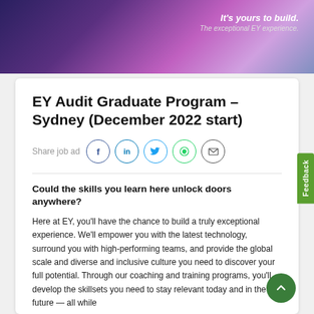[Figure (photo): EY promotional banner with purple/blue gradient background and text 'It's yours to build. The exceptional EY experience.']
EY Audit Graduate Program – Sydney (December 2022 start)
Share job ad [Facebook] [LinkedIn] [Twitter] [WhatsApp] [Email]
Could the skills you learn here unlock doors anywhere?
Here at EY, you'll have the chance to build a truly exceptional experience. We'll empower you with the latest technology, surround you with high-performing teams, and provide the global scale and diverse and inclusive culture you need to discover your full potential. Through our coaching and training programs, you'll develop the skillsets you need to stay relevant today and in the future — all while